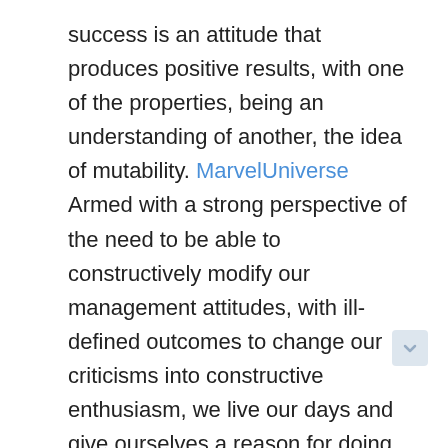success is an attitude that produces positive results, with one of the properties, being an understanding of another, the idea of mutability. MarvelUniverse Armed with a strong perspective of the need to be able to constructively modify our management attitudes, with ill-defined outcomes to change our criticisms into constructive enthusiasm, we live our days and give ourselves a reason for doing so. We use positive self talk to tell ourselves that we are good, capable, talented, well-meaning, optimistic, patient, hard-working, and energetic. And if we believe these things, something good will result each day.
Some people invoke this positive outlook to